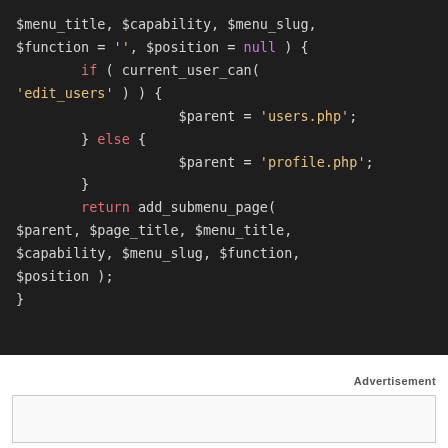[Figure (screenshot): Dark-background code block showing PHP code with syntax highlighting: keywords in pink/red (if, else, return), strings in yellow ('edit_users', 'users.php', 'profile.php', ''), null in purple, and default identifiers in light gray. Code implements a conditional to set $parent based on current_user_can('edit_users'), then calls add_submenu_page().]
Advertisement